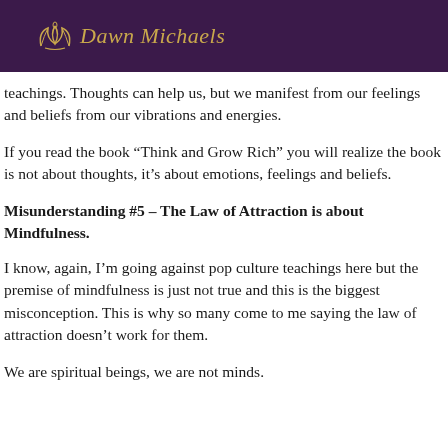Dawn Michaels
teachings. Thoughts can help us, but we manifest from our feelings and beliefs from our vibrations and energies.
If you read the book “Think and Grow Rich” you will realize the book is not about thoughts, it’s about emotions, feelings and beliefs.
Misunderstanding #5 – The Law of Attraction is about Mindfulness.
I know, again, I’m going against pop culture teachings here but the premise of mindfulness is just not true and this is the biggest misconception. This is why so many come to me saying the law of attraction doesn’t work for them.
We are spiritual beings, we are not minds.